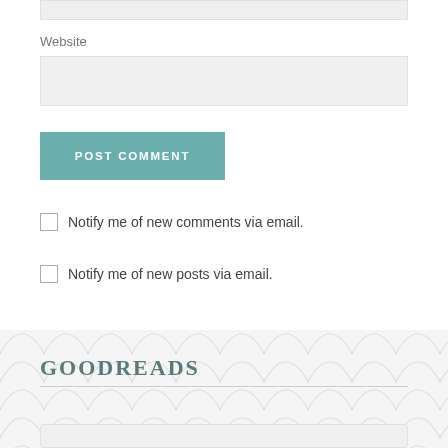Website
POST COMMENT
Notify me of new comments via email.
Notify me of new posts via email.
GOODREADS